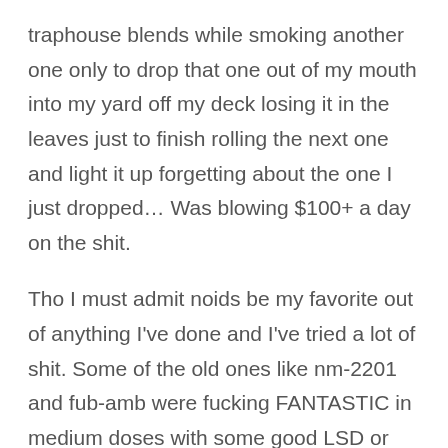traphouse blends while smoking another one only to drop that one out of my mouth into my yard off my deck losing it in the leaves just to finish rolling the next one and light it up forgetting about the one I just dropped… Was blowing $100+ a day on the shit.
Tho I must admit noids be my favorite out of anything I've done and I've tried a lot of shit. Some of the old ones like nm-2201 and fub-amb were fucking FANTASTIC in medium doses with some good LSD or shrooms! Like stronger than DMT breakthroughs at some times.
I would advise JWH-210. I have only been smoking